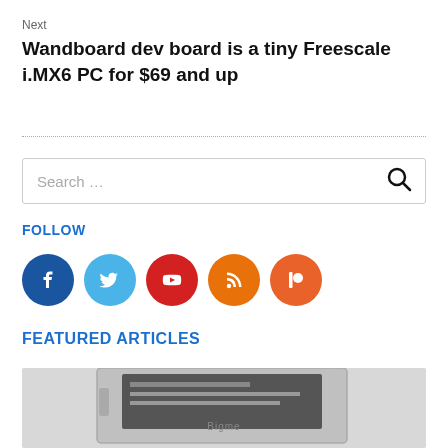Next
Wandboard dev board is a tiny Freescale i.MX6 PC for $69 and up
[Figure (other): Search bar with magnifying glass icon]
FOLLOW
[Figure (infographic): Social media icons: Facebook (dark blue), Twitter (light blue), YouTube (red), RSS (orange), Patreon (orange-red)]
FEATURED ARTICLES
[Figure (photo): Partial photo of a Bigme device/tablet in white/silver casing]